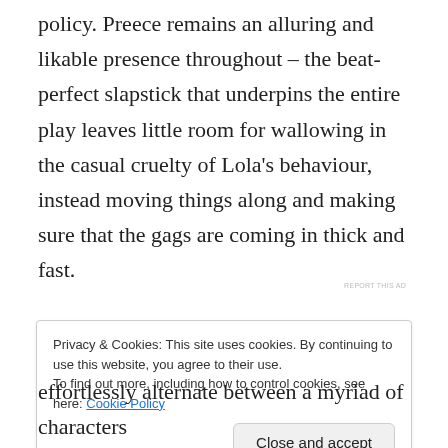policy. Preece remains an alluring and likable presence throughout – the beat-perfect slapstick that underpins the entire play leaves little room for wallowing in the casual cruelty of Lola's behaviour, instead moving things along and making sure that the gags are coming in thick and fast.
REPORT THIS AD
Privacy & Cookies: This site uses cookies. By continuing to use this website, you agree to their use. To find out more, including how to control cookies, see here: Cookie Policy
Close and accept
effortlessly alternate between a myriad of characters